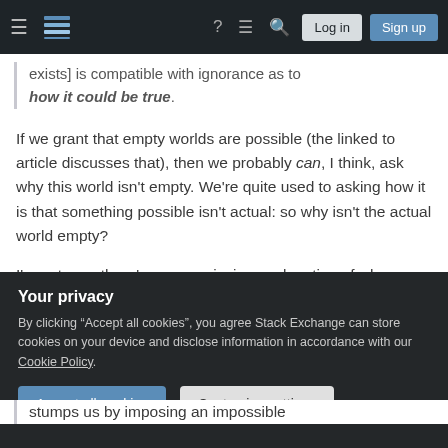Stack Exchange navigation bar with Log in and Sign up buttons
exists] is compatible with ignorance as to how it could be true.
If we grant that empty worlds are possible (the linked to article discusses that), then we probably can, I think, ask why this world isn't empty. We're quite used to asking how it is that something possible isn't actual: so why isn't the actual world empty?
I'm not sure there's any convincing explanation of why, because I can't think even of what sort of
Your privacy
By clicking "Accept all cookies", you agree Stack Exchange can store cookies on your device and disclose information in accordance with our Cookie Policy.
Accept all cookies
Customize settings
stumps us by imposing an impossible